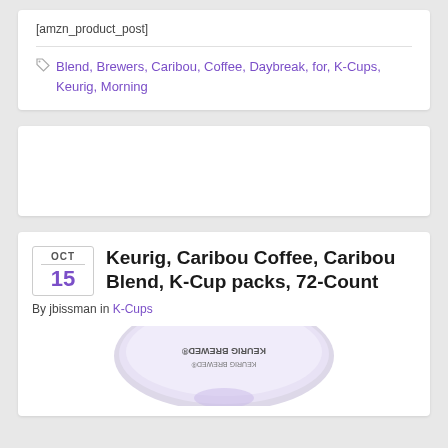[amzn_product_post]
Blend, Brewers, Caribou, Coffee, Daybreak, for, K-Cups, Keurig, Morning
[Figure (other): Empty white card / advertisement placeholder]
Keurig, Caribou Coffee, Caribou Blend, K-Cup packs, 72-Count
By jbissman in K-Cups
[Figure (photo): Bottom portion of a K-Cup pod showing KEURIG BREWED logo, upside down view]